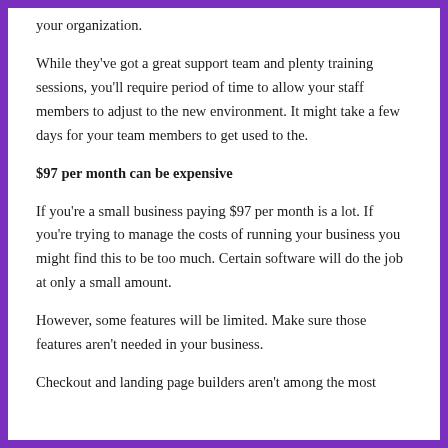your organization.
While they've got a great support team and plenty training sessions, you'll require period of time to allow your staff members to adjust to the new environment. It might take a few days for your team members to get used to the.
$97 per month can be expensive
If you're a small business paying $97 per month is a lot. If you're trying to manage the costs of running your business you might find this to be too much. Certain software will do the job at only a small amount.
However, some features will be limited. Make sure those features aren't needed in your business.
Checkout and landing page builders aren't among the most